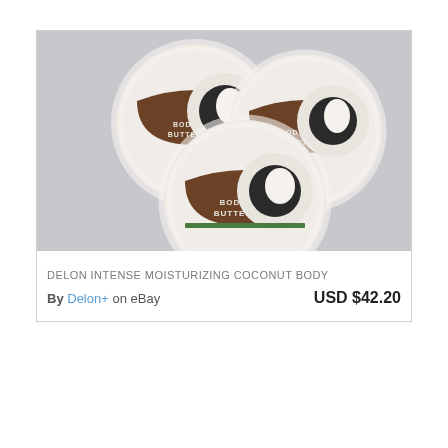[Figure (photo): Three round white containers of coconut body butter with brown and green labels showing a coconut image and the text BODY BUTTER, arranged in a triangular stack on a light grey surface.]
DELON INTENSE MOISTURIZING COCONUT BODY
By Delon+ on eBay    USD $42.20